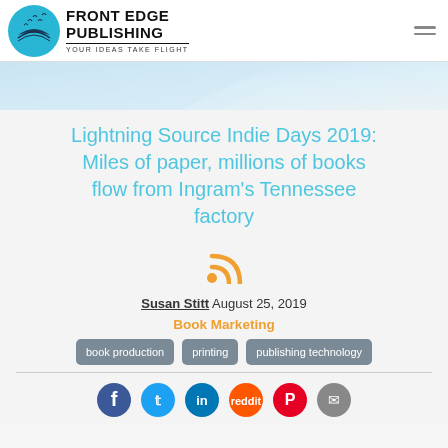[Figure (logo): Front Edge Publishing logo with circular bird/book icon and text 'FRONT EDGE PUBLISHING - YOUR IDEAS TAKE FLIGHT']
[Figure (illustration): Light blue diagonal banner/wave graphic]
Lightning Source Indie Days 2019: Miles of paper, millions of books flow from Ingram's Tennessee factory
[Figure (other): Orange RSS feed icon]
Susan Stitt August 25, 2019
Book Marketing
book production
printing
publishing technology
[Figure (other): Social media icons: Facebook, Twitter, LinkedIn, Reddit, Pinterest, Email]